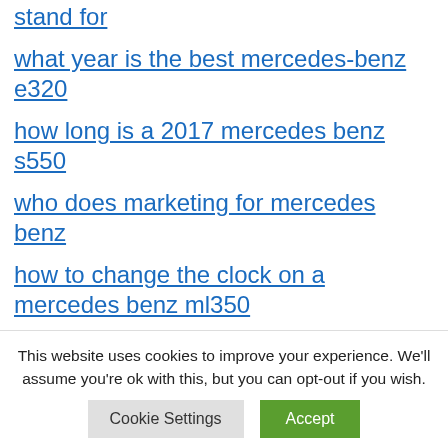stand for
what year is the best mercedes-benz e320
how long is a 2017 mercedes benz s550
who does marketing for mercedes benz
how to change the clock on a mercedes benz ml350
how much mercedes benz pays
This website uses cookies to improve your experience. We'll assume you're ok with this, but you can opt-out if you wish.
Cookie Settings | Accept